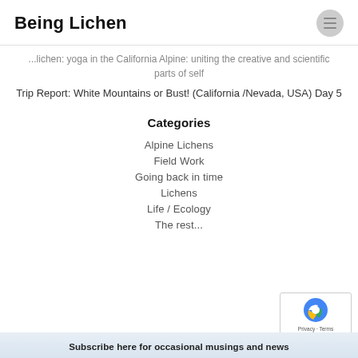Being Lichen
...lichen: yoga in the California Alpine: uniting the creative and scientific parts of self
Trip Report: White Mountains or Bust! (California /Nevada, USA) Day 5
Categories
Alpine Lichens
Field Work
Going back in time
Lichens
Life / Ecology
The rest...
Subscribe here for occasional musings and news